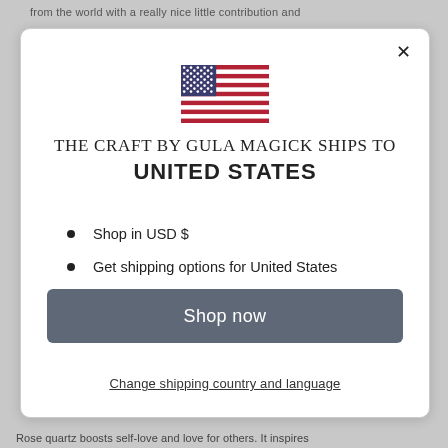from the world with a really nice little contribution and
[Figure (illustration): US flag SVG icon]
THE CRAFT BY GULA MAGICK SHIPS TO
UNITED STATES
Shop in USD $
Get shipping options for United States
Language set to English
Shop now
Change shipping country and language
Rose quartz boosts self-love and love for others. It inspires